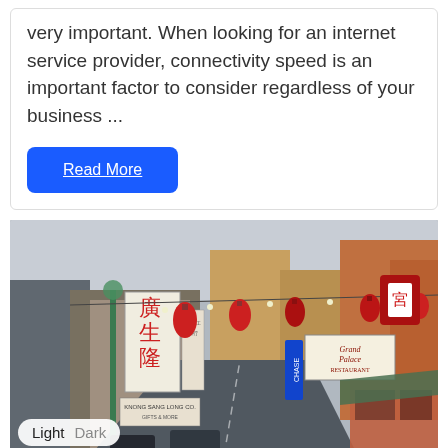very important. When looking for an internet service provider, connectivity speed is an important factor to consider regardless of your business ...
Read More
[Figure (photo): Street scene in Chinatown with Chinese signs, red lanterns hanging on wires, shops including Grand Palace Restaurant, Chase bank sign, and street traffic.]